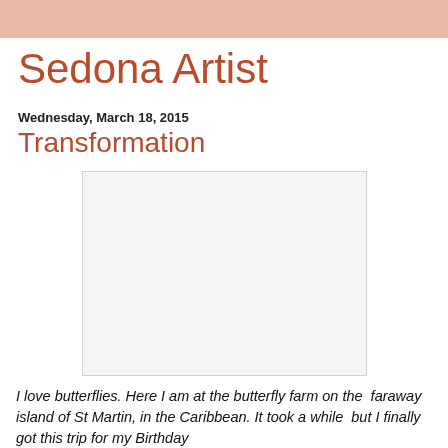Sedona Artist
Wednesday, March 18, 2015
Transformation
[Figure (photo): A white/light gray blank photo placeholder box, bordered with a light gray border, representing an image from the butterfly farm on St Martin in the Caribbean.]
I love butterflies. Here I am at the butterfly farm on the  faraway island of St Martin, in the Caribbean. It took a while  but I finally got this trip for my Birthday